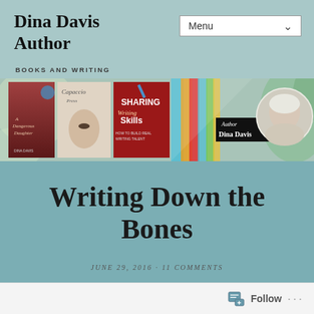Dina Davis Author
BOOKS AND WRITING
Menu
[Figure (photo): Banner image showing book covers for 'A Dangerous Daughter', 'Capaccio Press', 'Sharing Writing Skills', colorful pencils, an Author Dina Davis label, and a circular portrait of the author on a teal background with green swirl decorations.]
Writing Down the Bones
JUNE 29, 2016 · 11 COMMENTS
Follow ···